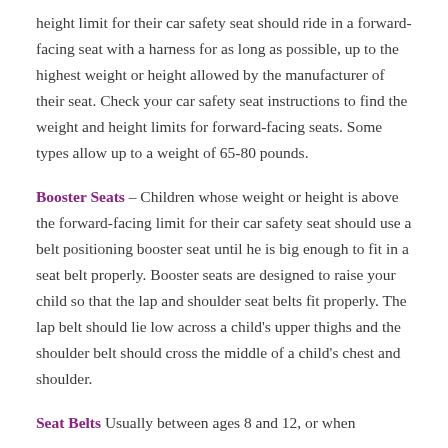height limit for their car safety seat should ride in a forward-facing seat with a harness for as long as possible, up to the highest weight or height allowed by the manufacturer of their seat. Check your car safety seat instructions to find the weight and height limits for forward-facing seats. Some types allow up to a weight of 65-80 pounds.
Booster Seats – Children whose weight or height is above the forward-facing limit for their car safety seat should use a belt positioning booster seat until he is big enough to fit in a seat belt properly. Booster seats are designed to raise your child so that the lap and shoulder seat belts fit properly. The lap belt should lie low across a child's upper thighs and the shoulder belt should cross the middle of a child's chest and shoulder.
Seat Belts Usually between ages 8 and 12, or when